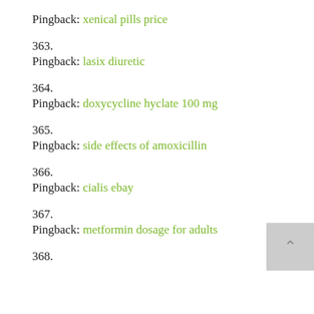Pingback: xenical pills price
363.
Pingback: lasix diuretic
364.
Pingback: doxycycline hyclate 100 mg
365.
Pingback: side effects of amoxicillin
366.
Pingback: cialis ebay
367.
Pingback: metformin dosage for adults
368.